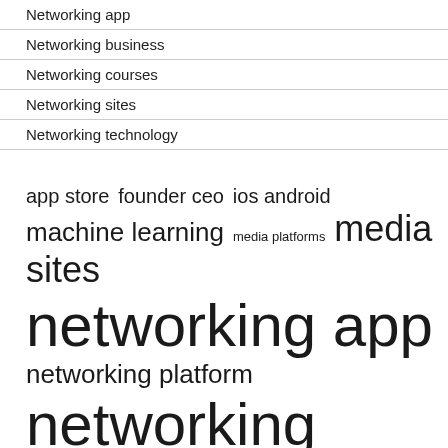Networking app
Networking business
Networking courses
Networking sites
Networking technology
[Figure (infographic): Tag cloud with networking-related terms in varying font sizes indicating frequency/importance: app store, founder ceo, ios android, machine learning, media platforms, media sites, networking app, networking platform, networking sites, north america, press release, real time, real world, social media, social networking, social networks]